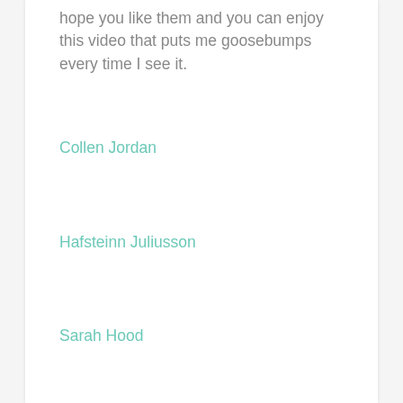hope you like them and you can enjoy this video that puts me goosebumps every time I see it.
Collen Jordan
Hafsteinn Juliusson
Sarah Hood
La Chica de los Anillos